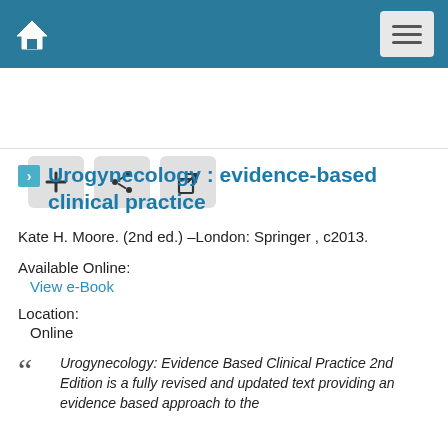Navigation bar with home icon and menu button
[Figure (screenshot): Toolbar with three buttons: add (+), share, and external link icons]
Urogynecology : evidence-based clinical practice
Kate H. Moore. (2nd ed.) –London: Springer , c2013.
Available Online:
View e-Book
Location:
Online
Urogynecology: Evidence Based Clinical Practice 2nd Edition is a fully revised and updated text providing an evidence based approach to the